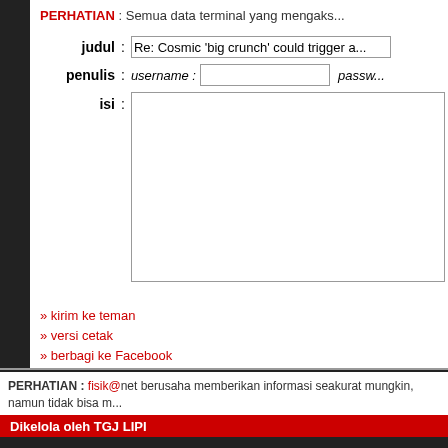PERHATIAN : Semua data terminal yang mengaks...
judul : Re: Cosmic 'big crunch' could trigger a...
penulis : username : [input] passw...
isi : [textarea]
» kirim ke teman
» versi cetak
» berbagi ke Facebook
» berbagi ke Twitter
» markah halaman ini
PERHATIAN : fisik@net berusaha memberikan informasi seakurat mungkin, namun tidak bisa m... tanggung-jawab pemakai !
Dikelola oleh TGJ LIPI